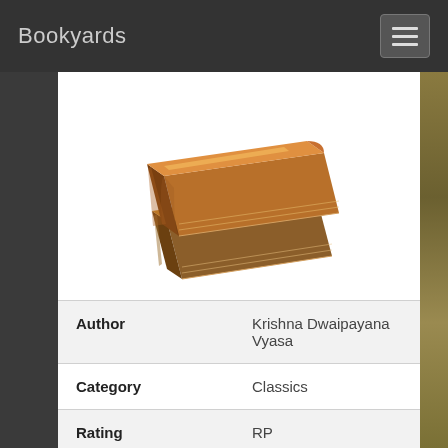Bookyards
[Figure (illustration): Stack of two brown books icon, viewed from a slight angle, with warm brown/tan tones and glossy highlight.]
| Author | Krishna Dwaipayana Vyasa |
| Category | Classics |
| Rating | RP |
| Language | en |
| Copyrights | us |
| Short Description |  |